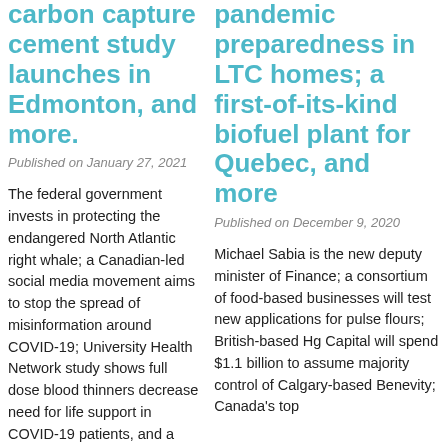carbon capture cement study launches in Edmonton, and more.
Published on January 27, 2021
The federal government invests in protecting the endangered North Atlantic right whale; a Canadian-led social media movement aims to stop the spread of misinformation around COVID-19; University Health Network study shows full dose blood thinners decrease need for life support in COVID-19 patients, and a new report says Canada's PhD students face persistent
pandemic preparedness in LTC homes; a first-of-its-kind biofuel plant for Quebec, and more
Published on December 9, 2020
Michael Sabia is the new deputy minister of Finance; a consortium of food-based businesses will test new applications for pulse flours; British-based Hg Capital will spend $1.1 billion to assume majority control of Calgary-based Benevity; Canada's top